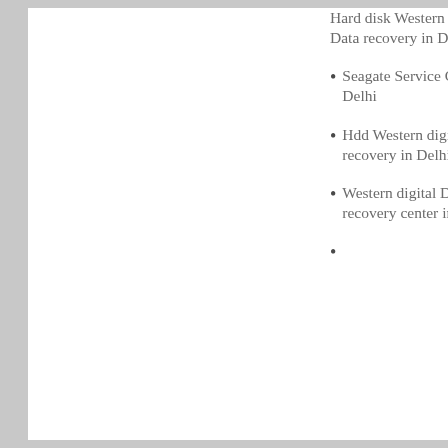Hard disk Western digital Data recovery in Delhi
Seagate Service Center in Delhi
Hdd Western digital Data recovery in Delhi
Western digital Data recovery center in Delhi